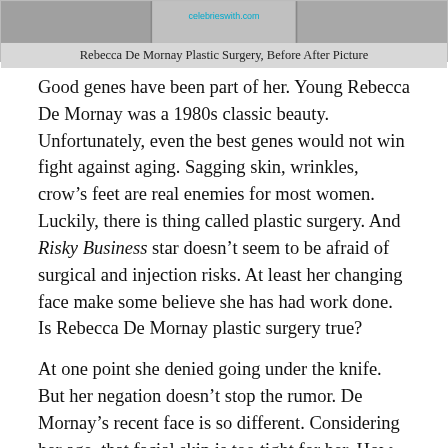[Figure (photo): Before and after photo of Rebecca De Mornay plastic surgery with celebrieswith.com watermark]
Rebecca De Mornay Plastic Surgery, Before After Picture
Good genes have been part of her. Young Rebecca De Mornay was a 1980s classic beauty. Unfortunately, even the best genes would not win fight against aging. Sagging skin, wrinkles, crow’s feet are real enemies for most women. Luckily, there is thing called plastic surgery. And Risky Business star doesn’t seem to be afraid of surgical and injection risks. At least her changing face make some believe she has had work done. Is Rebecca De Mornay plastic surgery true?
At one point she denied going under the knife. But her negation doesn’t stop the rumor. De Mornay’s recent face is so different. Considering her age, that facial skin is too tight for her. How old is Rebecca De Mornay? California-born actress is 58 years old. Don’t you think Rebecca De Mornay’s age should normally give